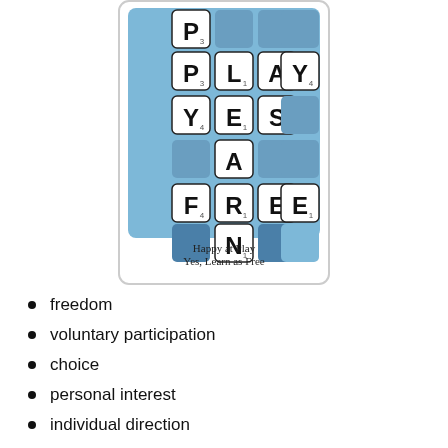[Figure (illustration): Scrabble-tile style board showing letters spelling PLAY, YES, A, FREE, N arranged in a crossword pattern on a light blue background. Caption reads: Happy at Play / Yes, Learn as Free]
freedom
voluntary participation
choice
personal interest
individual direction